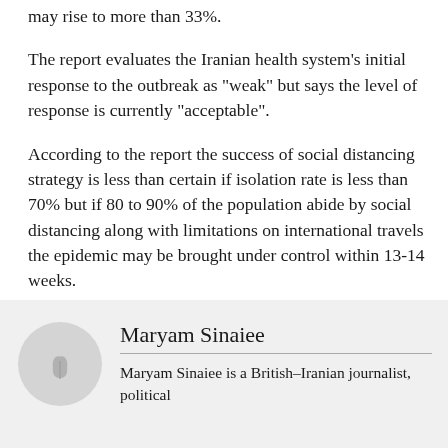may rise to more than 33%.
The report evaluates the Iranian health system's initial response to the outbreak as "weak" but says the level of response is currently "acceptable".
According to the report the success of social distancing strategy is less than certain if isolation rate is less than 70% but if 80 to 90% of the population abide by social distancing along with limitations on international travels the epidemic may be brought under control within 13-14 weeks.
Maryam Sinaiee
Maryam Sinaiee is a British-Iranian journalist, political